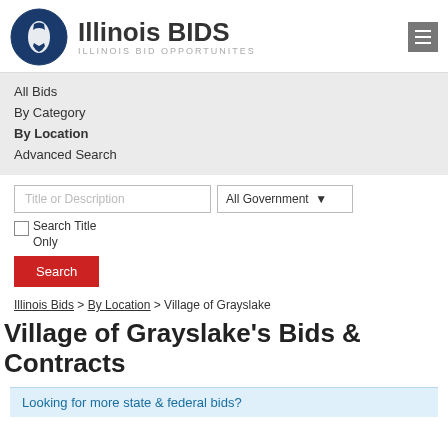Illinois BIDS — ILLINOIS BID OPPORTUNITES
All Bids
By Category
By Location
Advanced Search
Title or Description | All Government ▾ | Search Title Only
Search
Illinois Bids > By Location > Village of Grayslake
Village of Grayslake's Bids & Contracts
Looking for more state & federal bids?